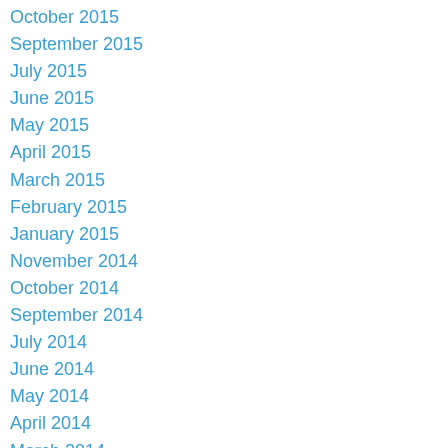October 2015
September 2015
July 2015
June 2015
May 2015
April 2015
March 2015
February 2015
January 2015
November 2014
October 2014
September 2014
July 2014
June 2014
May 2014
April 2014
March 2014
February 2014
January 2014
November 2013
October 2013